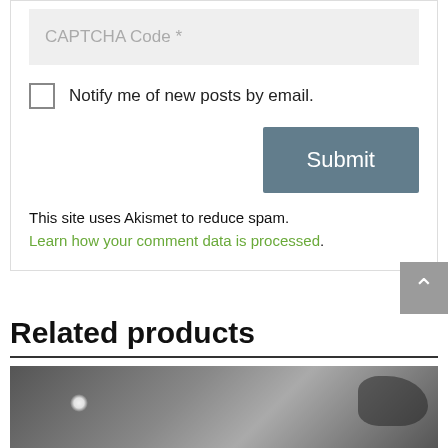CAPTCHA Code *
Notify me of new posts by email.
Submit
This site uses Akismet to reduce spam. Learn how your comment data is processed.
Related products
[Figure (photo): Greyscale product photo, partially visible at bottom of page]